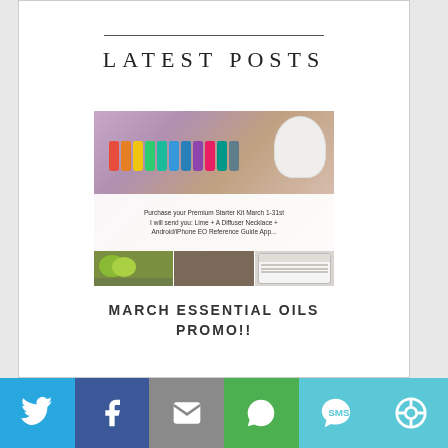LATEST POSTS
[Figure (photo): Essential oils promotion image showing colorful essential oil bottles, a diffuser, and product details with text: Purchase your Premium Starter Kit March 1-31st I'll send you: Lime + A Diffuser Necklace + Android/iPhone EO Reference Guide App. Bottom strip shows lime/green apples, wooden surface, and a smartphone.]
MARCH ESSENTIAL OILS PROMO!!
[Figure (infographic): Social media share bar with Twitter (blue), Facebook (dark blue), Email (gray), WhatsApp (green), SMS (teal), and More (teal) buttons with white icons]